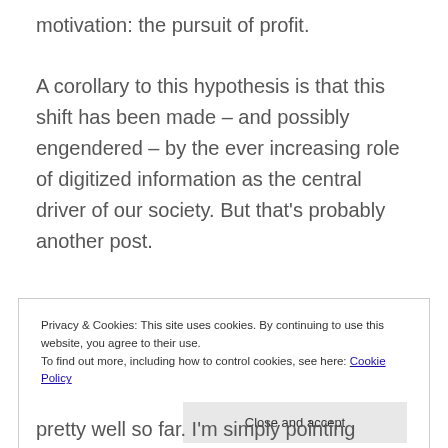motivation: the pursuit of profit.
A corollary to this hypothesis is that this shift has been made – and possibly engendered – by the ever increasing role of digitized information as the central driver of our society. But that's probably another post.
Privacy & Cookies: This site uses cookies. By continuing to use this website, you agree to their use.
To find out more, including how to control cookies, see here: Cookie Policy
pretty well so far. I'm simply pointing